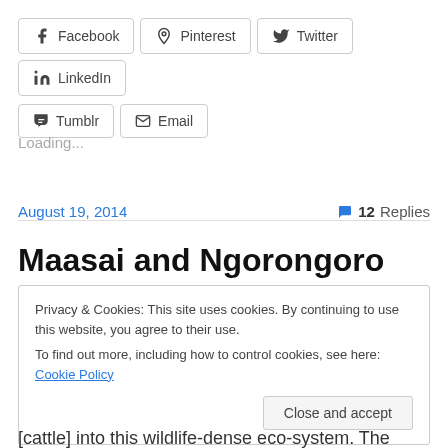Facebook
Pinterest
Twitter
LinkedIn
Tumblr
Email
Loading...
August 19, 2014
12 Replies
Maasai and Ngorongoro Crater
Privacy & Cookies: This site uses cookies. By continuing to use this website, you agree to their use.
To find out more, including how to control cookies, see here: Cookie Policy
[cattle] into this wildlife-dense eco-system. The number of